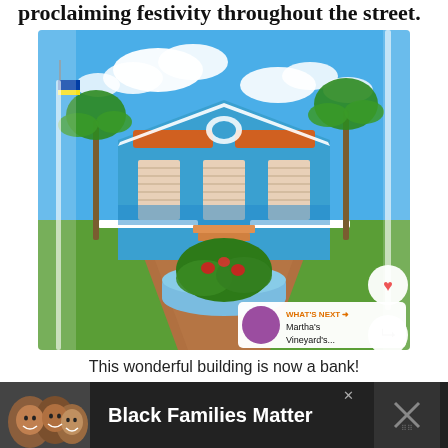proclaiming festivity throughout the street.
[Figure (photo): Colorful Dutch colonial-style blue building with orange tile roof, white shuttered windows, white balustrades, palm trees, circular garden planter in foreground, Curaçao flag visible, blue sky with clouds.]
This wonderful building is now a bank!
[Figure (infographic): Advertisement banner reading 'Black Families Matter' with photo of smiling family.]